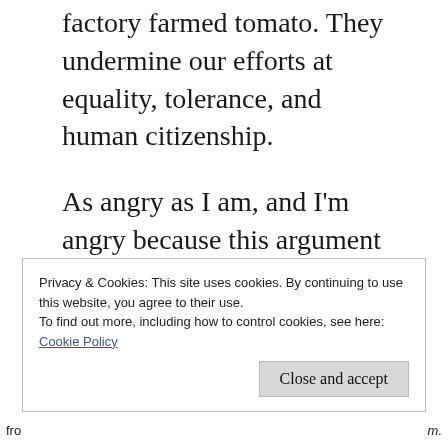factory farmed tomato. They undermine our efforts at equality, tolerance, and human citizenship.
As angry as I am, and I'm angry because this argument cuts to the core of all I value, I will continue to read. I respect Kingsolver's skill and passion, and I hope I find a glimpse beyond her 100 acre backyard and carefully crafted factoids.
Privacy & Cookies: This site uses cookies. By continuing to use this website, you agree to their use.
To find out more, including how to control cookies, see here: Cookie Policy
fro                                                                                               m.